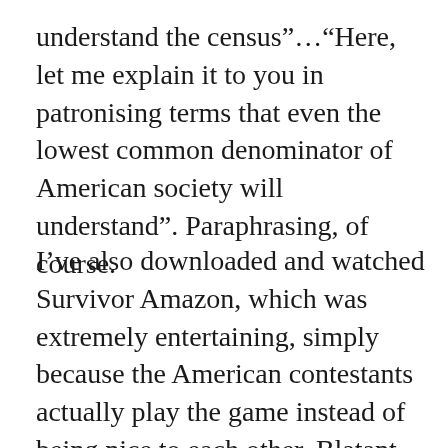understand the census”…“Here, let me explain it to you in patronising terms that even the lowest common denominator of American society will understand”. Paraphrasing, of course.
I’ve also downloaded and watched Survivor Amazon, which was extremely entertaining, simply because the American contestants actually play the game instead of being nice to each other. Blatant backstabbing and gratuitous nudity from the two models on the show are regularly used to help win the game. The danger is real too, with several serious injuries – unlike our UK versions where we have to have fake danger so that no-one gets